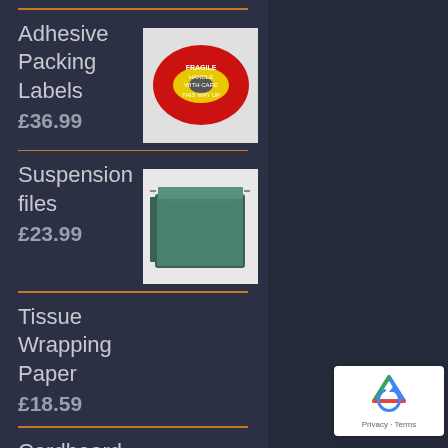Adhesive Packing Labels
£36.99
Suspension files
£23.99
Tissue Wrapping Paper
£18.59
Cardboard Pallet Boxes
[Figure (photo): Roll of red and yellow adhesive packing labels]
[Figure (photo): Green suspension file folder]